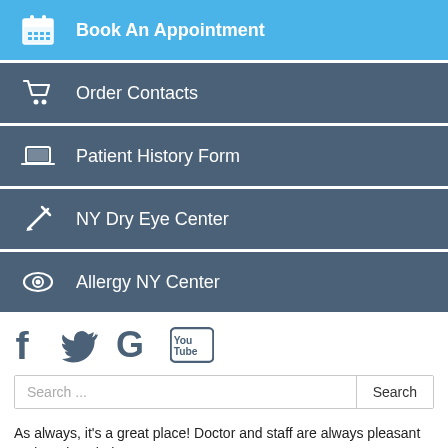Book An Appointment
Order Contacts
Patient History Form
NY Dry Eye Center
Allergy NY Center
[Figure (other): Social media icons: Facebook, Twitter, Google, YouTube]
Search ...
As always, it's a great place! Doctor and staff are always pleasant and ready to help.
[Figure (other): Five gold star rating icons]